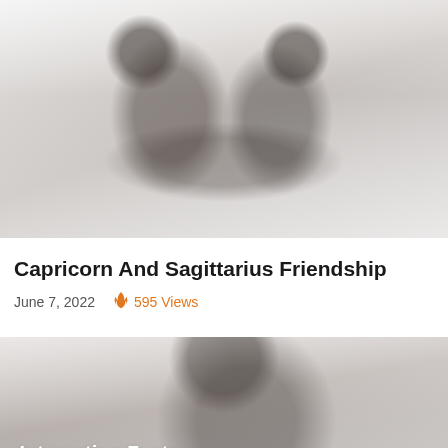[Figure (photo): Two women with short dark hair hugging each other, viewed from behind, faded/washed-out style]
Capricorn And Sagittarius Friendship
June 7, 2022   🔥 595 Views
[Figure (photo): Close-up of a person's face, faded style, with bold italic overlay text reading 'Interesting Facts']